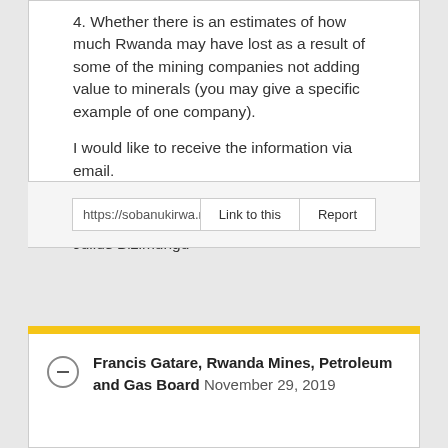4. Whether there is an estimates of how much Rwanda may have lost as a result of some of the mining companies not adding value to minerals (you may give a specific example of one company).
I would like to receive the information via email.
Yours faithfully,
Julius Bizimungu
https://sobanukirwa.rw/reques
Francis Gatare, Rwanda Mines, Petroleum and Gas Board November 29, 2019